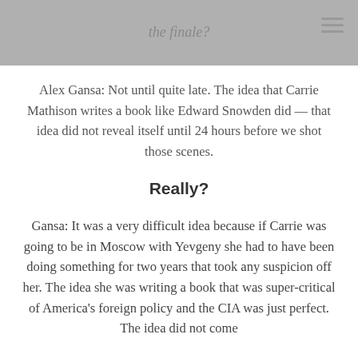the finale?
Alex Gansa: Not until quite late. The idea that Carrie Mathison writes a book like Edward Snowden did — that idea did not reveal itself until 24 hours before we shot those scenes.
Really?
Gansa: It was a very difficult idea because if Carrie was going to be in Moscow with Yevgeny she had to have been doing something for two years that took any suspicion off her. The idea she was writing a book that was super-critical of America's foreign policy and the CIA was just perfect. The idea did not come